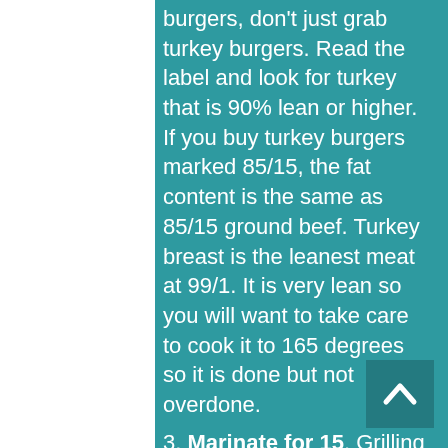burgers, don't just grab turkey burgers. Read the label and look for turkey that is 90% lean or higher. If you buy turkey burgers marked 85/15, the fat content is the same as 85/15 ground beef. Turkey breast is the leanest meat at 99/1. It is very lean so you will want to take care to cook it to 165 degrees so it is done but not overdone.
3. Marinate for 15. Grilling or cooking meat at high temps (like frying) increases the production of HCA (heterocyclic amines), and PHA (polycyclic aromatic hydrocarbons), which are cancer causing chemicals. Marinating your chicken, fish, pork or steak in an acidic medium like salad dressing for just 15 minutes reduces